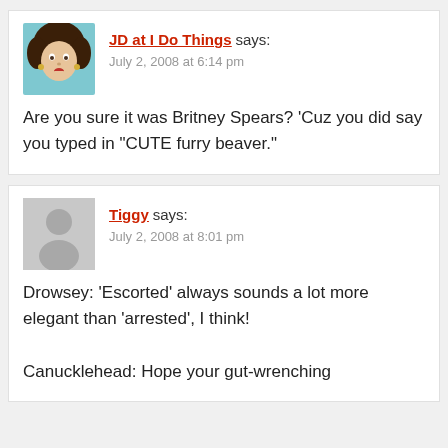[Figure (photo): Avatar photo of JD at I Do Things, a woman with curly brown hair]
JD at I Do Things says: July 2, 2008 at 6:14 pm
Are you sure it was Britney Spears? 'Cuz you did say you typed in "CUTE furry beaver."
[Figure (illustration): Generic user avatar placeholder (gray silhouette)]
Tiggy says: July 2, 2008 at 8:01 pm
Drowsey: 'Escorted' always sounds a lot more elegant than 'arrested', I think!

Canucklehead: Hope your gut-wrenching